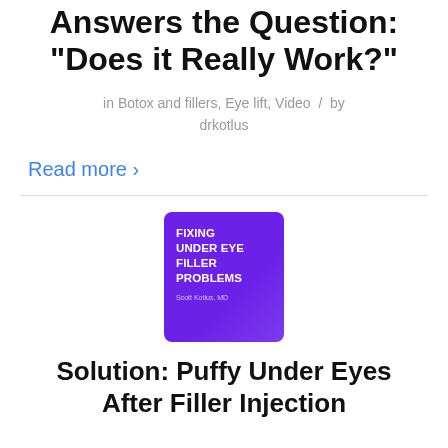Answers the Question: “Does it Really Work?”
in Botox and fillers, Eye lift, Video / by drkotlus
Read more ›
[Figure (illustration): Purple square thumbnail with white bold text reading: FIXING UNDER EYE FILLER PROBLEMS, with small author name below]
Solution: Puffy Under Eyes After Filler Injection